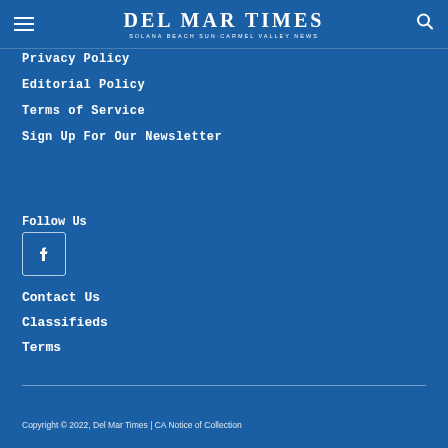Del Mar Times | Solana Beach Sun-Carmel Valley News
Privacy Policy
Editorial Policy
Terms of Service
Sign Up For Our Newsletter
Follow Us
[Figure (logo): Facebook icon in a rounded square border]
Contact Us
Classifieds
Terms
Copyright © 2022, Del Mar Times | CA Notice of Collection